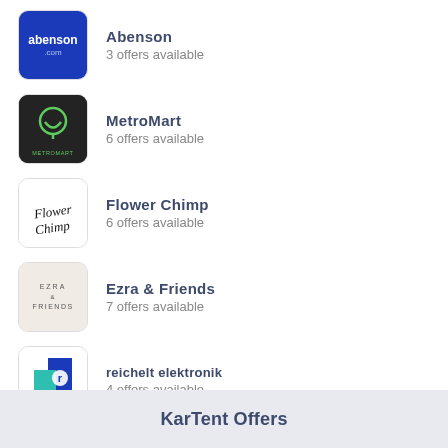Abenson — 3 offers available
MetroMart — 6 offers available
Flower Chimp — 6 offers available
Ezra & Friends — 7 offers available
reichelt elektronik — 4 offers available
KarTent Offers